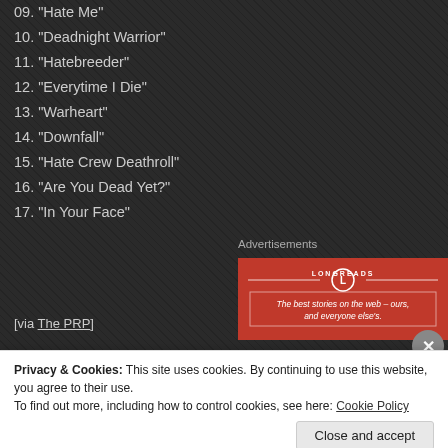09. "Hate Me"
10. "Deadnight Warrior"
11. "Hatebreeder"
12. "Everytime I Die"
13. "Warheart"
14. "Downfall"
15. "Hate Crew Deathroll"
16. "Are You Dead Yet?"
17. "In Your Face"
[Figure (other): Longreads advertisement banner with red background: 'The best stories on the web – ours, and everyone else's.']
[via The PRP]
Privacy & Cookies: This site uses cookies. By continuing to use this website, you agree to their use. To find out more, including how to control cookies, see here: Cookie Policy
Close and accept